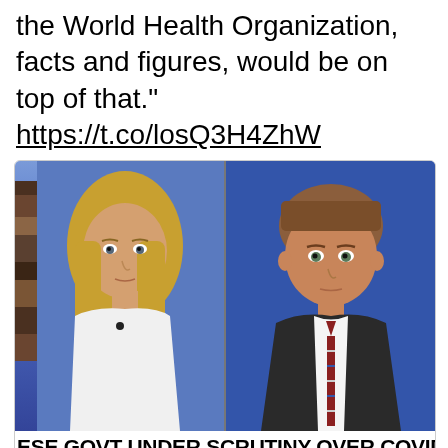the World Health Organization, facts and figures, would be on top of that." https://t.co/losQ3H4ZhW
[Figure (screenshot): Fox News broadcast screenshot showing two anchors side by side. Lower third reads 'ESE GOVT UNDER SCRUTINY OVER COVID' with a 'CORONAVIRUS PANDEMIC' ticker in red/orange and a bottom crawl reading 'O OPEN UP EVEN SOONER THAN THE END OF APRIL - ADDI']